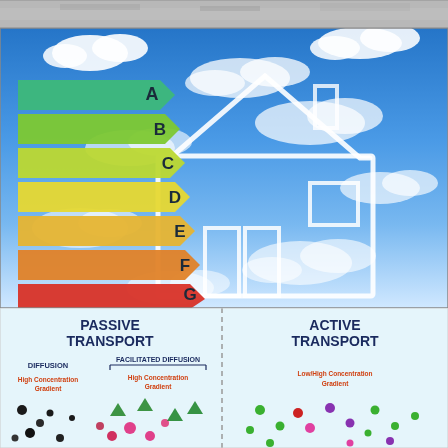[Figure (photo): Aerial/satellite grey photograph strip at top of page]
[Figure (illustration): Energy efficiency rating chart (A through G, color-coded arrows from green to red) against a blue sky background with a white outlined house illustration]
[Figure (infographic): Passive Transport vs Active Transport biology diagram. Passive side shows Diffusion and Facilitated Diffusion with High Concentration Gradient label and colored dots. Active side shows Active Transport with Low/High Concentration Gradient label and colored dots.]